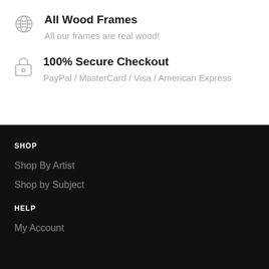All Wood Frames — All our frames are real wood!
100% Secure Checkout — PayPal / MasterCard / Visa / American Express
SHOP
Shop By Artist
Shop by Subject
HELP
My Account